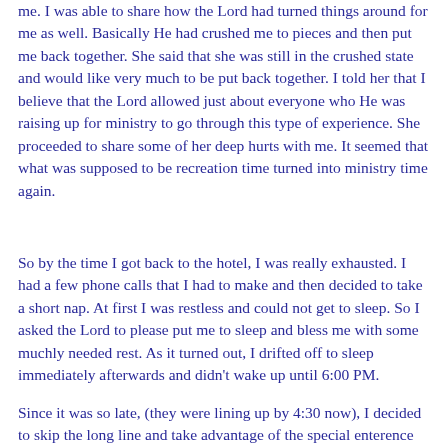me. I was able to share how the Lord had turned things around for me as well. Basically He had crushed me to pieces and then put me back together. She said that she was still in the crushed state and would like very much to be put back together. I told her that I believe that the Lord allowed just about everyone who He was raising up for ministry to go through this type of experience. She proceeded to share some of her deep hurts with me. It seemed that what was supposed to be recreation time turned into ministry time again.
So by the time I got back to the hotel, I was really exhausted. I had a few phone calls that I had to make and then decided to take a short nap. At first I was restless and could not get to sleep. So I asked the Lord to please put me to sleep and bless me with some muchly needed rest. As it turned out, I drifted off to sleep immediately afterwards and didn't wake up until 6:00 PM.
Since it was so late, (they were lining up by 4:30 now), I decided to skip the long line and take advantage of the special enterence for ministry team members. Pastor Mary